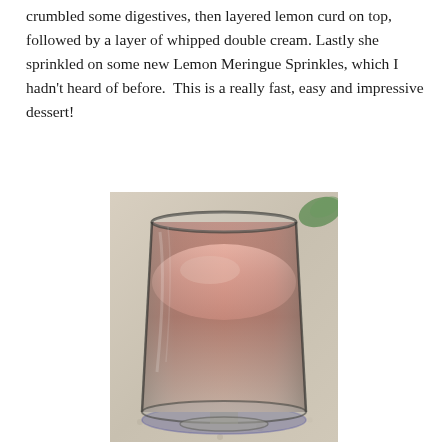crumbled some digestives, then layered lemon curd on top, followed by a layer of whipped double cream. Lastly she sprinkled on some new Lemon Meringue Sprinkles, which I hadn't heard of before.  This is a really fast, easy and impressive dessert!
[Figure (photo): A glass dessert cup filled with a pinkish-peachy layered cream dessert, sitting on a coaster on a granite countertop.]